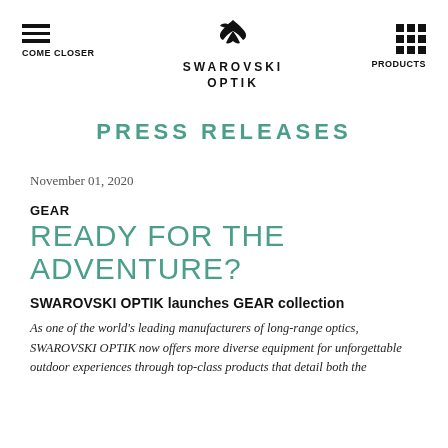COME CLOSER | SWAROVSKI OPTIK | PRODUCTS
PRESS RELEASES
November 01, 2020
GEAR
READY FOR THE ADVENTURE?
SWAROVSKI OPTIK launches GEAR collection
As one of the world's leading manufacturers of long-range optics, SWAROVSKI OPTIK now offers more diverse equipment for unforgettable outdoor experiences through top-class products that detail both the